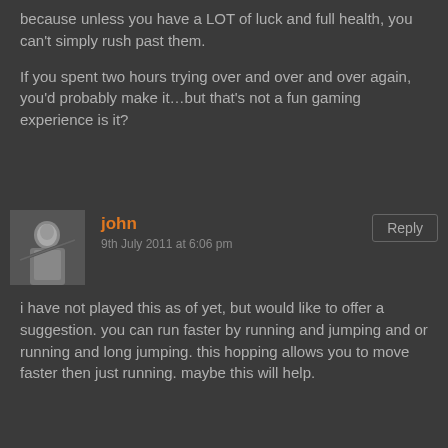because unless you have a LOT of luck and full health, you can't simply rush past them.
If you spent two hours trying over and over and over again, you'd probably make it…but that's not a fun gaming experience is it?
[Figure (photo): Small grayscale avatar photo of a person holding what appears to be a rifle or staff]
john
9th July 2011 at 6:06 pm
Reply
i have not played this as of yet, but would like to offer a suggestion. you can run faster by running and jumping and or running and long jumping. this hopping allows you to move faster then just running. maybe this will help.